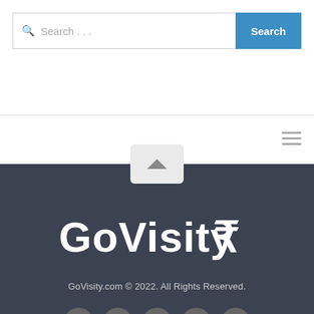[Figure (screenshot): Search bar with text 'Search ...' and a blue Search button]
[Figure (illustration): Hamburger menu icon (three horizontal lines)]
GoVisity logo, GoVisity.com © 2022. All Rights Reserved., Social media icons: Facebook, Twitter, Flickr, Pinterest, YouTube